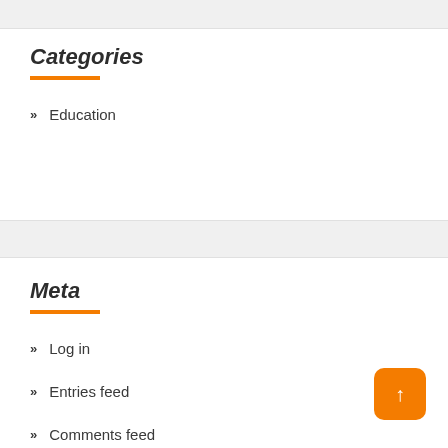Categories
Education
Meta
Log in
Entries feed
Comments feed
WordPress.org